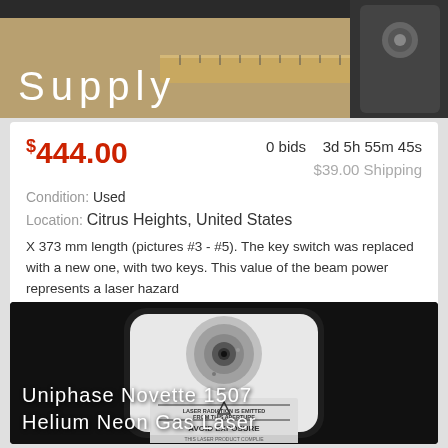[Figure (photo): Top portion of a laser product listing image showing 'Supply' text overlay on product photo with ruler]
$444.00   0 bids   3d 5h 55m 45s   $39.00 Shipping
Condition: Used
Location: Citrus Heights, United States
X 373 mm length (pictures #3 - #5). The key switch was replaced with a new one, with two keys. This value of the beam power represents a laser hazard ... more
[Figure (photo): Close-up front view of Uniphase Novette 1507 Helium Neon Gas Laser showing laser aperture and warning label reading LASER RADIATION IS EMITTED FROM THIS APERTURE AVOID EXPOSURE]